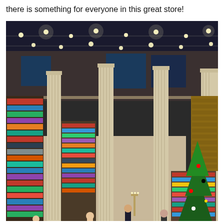there is something for everyone in this great store!
[Figure (photo): Interior of a large bookstore viewed from an elevated angle, showing rows of bookshelves filled with books, tall classical-style columns, string lights on the ceiling, shoppers browsing, and a Christmas tree visible in the lower right corner.]